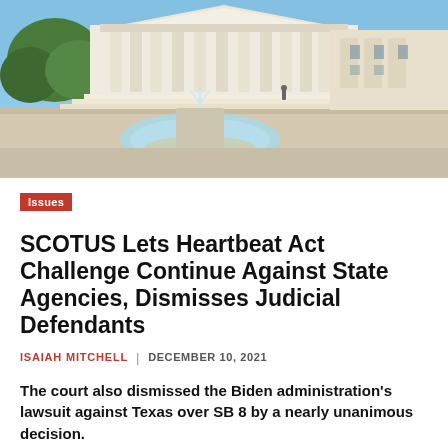[Figure (photo): Exterior photograph of the United States Supreme Court building with fountain in foreground, columns visible, blue sky background]
Issues
SCOTUS Lets Heartbeat Act Challenge Continue Against State Agencies, Dismisses Judicial Defendants
ISAIAH MITCHELL | DECEMBER 10, 2021
The court also dismissed the Biden administration's lawsuit against Texas over SB 8 by a nearly unanimous decision.
FULL STORY →